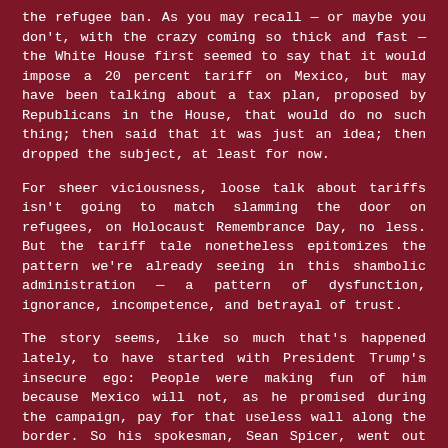the refugee ban. As you may recall — or maybe you don't, with the crazy coming so thick and fast — the White House first seemed to say that it would impose a 20 percent tariff on Mexico, but may have been talking about a tax plan, proposed by Republicans in the House, that would do no such thing; then said that it was just an idea; then dropped the subject, at least for now.
For sheer viciousness, loose talk about tariffs isn't going to match slamming the door on refugees, on Holocaust Remembrance Day, no less. But the tariff tale nonetheless epitomizes the pattern we're already seeing in this shambolic administration — a pattern of dysfunction, ignorance, incompetence, and betrayal of trust.
The story seems, like so much that's happened lately, to have started with President Trump's insecure ego: People were making fun of him because Mexico will not, as he promised during the campaign, pay for that useless wall along the border. So his spokesman, Sean Spicer, went out and declared that a border tax on Mexican products would, in fact, pay for the wall. So there!
As economists quickly pointed out, however, tariffs aren't paid by the exporter. With some minor qualifications, basically they're paid for by the buyers — that is, a tariff on Mexican goods would be a tax on U.S. consumers. America, not Mexico, would therefore end up paying for the wall.